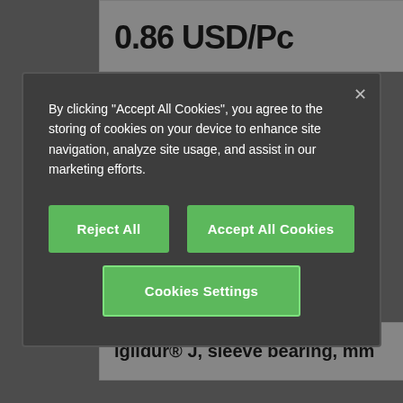0.86 USD/Pc
By clicking "Accept All Cookies", you agree to the storing of cookies on your device to enhance site navigation, analyze site usage, and assist in our marketing efforts.
Reject All
Accept All Cookies
Cookies Settings
iglidur® J, sleeve bearing, mm